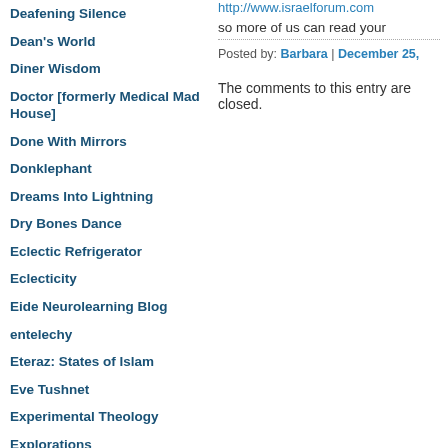Deafening Silence
Dean's World
Diner Wisdom
Doctor [formerly Medical Mad House]
Done With Mirrors
Donklephant
Dreams Into Lightning
Dry Bones Dance
Eclectic Refrigerator
Eclecticity
Eide Neurolearning Blog
entelechy
Eteraz: States of Islam
Eve Tushnet
Experimental Theology
Explorations
Falling Awake
Fluffy Stuffin'
http://www.israelforum.com...
so more of us can read your
Posted by: Barbara | December 25,
The comments to this entry are closed.